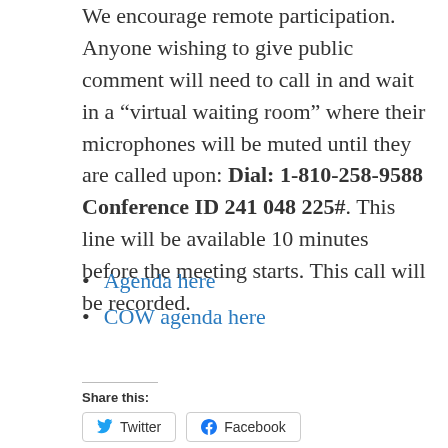We encourage remote participation. Anyone wishing to give public comment will need to call in and wait in a “virtual waiting room” where their microphones will be muted until they are called upon: Dial: 1-810-258-9588 Conference ID 241 048 225#. This line will be available 10 minutes before the meeting starts. This call will be recorded.
Agenda here
COW agenda here
Share this:
Twitter  Facebook